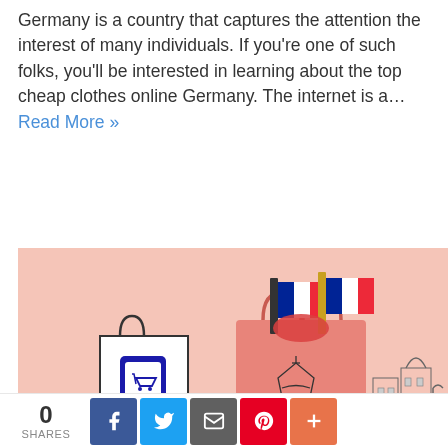Germany is a country that captures the attention the interest of many individuals. If you're one of such folks, you'll be interested in learning about the top cheap clothes online Germany. The internet is a... Read More »
[Figure (illustration): Illustration of a pink shopping bag with French flags and Eiffel Tower motif, a white shopping bag with a phone/cart icon, and a sketch of Paris buildings. Salmon/peach background.]
0 SHARES